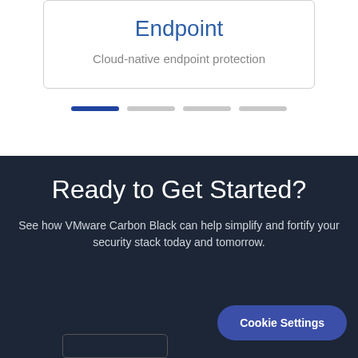Endpoint
Cloud-native endpoint protection
[Figure (other): Carousel pagination dots: one active blue bar and three inactive gray bars]
Ready to Get Started?
See how VMware Carbon Black can help simplify and fortify your security stack today and tomorrow.
Cookie Settings